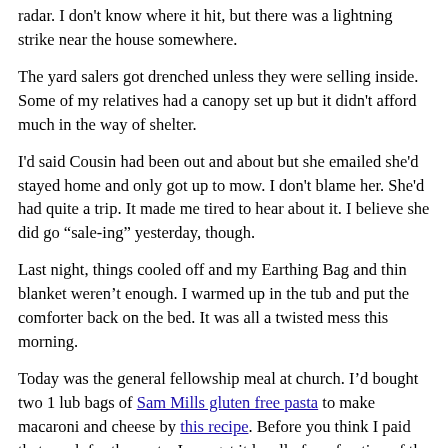radar. I don't know where it hit, but there was a lightning strike near the house somewhere.
The yard salers got drenched unless they were selling inside. Some of my relatives had a canopy set up but it didn't afford much in the way of shelter.
I'd said Cousin had been out and about but she emailed she'd stayed home and only got up to mow. I don't blame her. She'd had quite a trip. It made me tired to hear about it. I believe she did go “sale-ing” yesterday, though.
Last night, things cooled off and my Earthing Bag and thin blanket weren’t enough. I warmed up in the tub and put the comforter back on the bed. It was all a twisted mess this morning.
Today was the general fellowship meal at church. I’d bought two 1 lub bags of Sam Mills gluten free pasta to make macaroni and cheese by this recipe. Before you think I paid that much for the pasta, I can get it locally for a fraction of the price. (Oh, and I’m